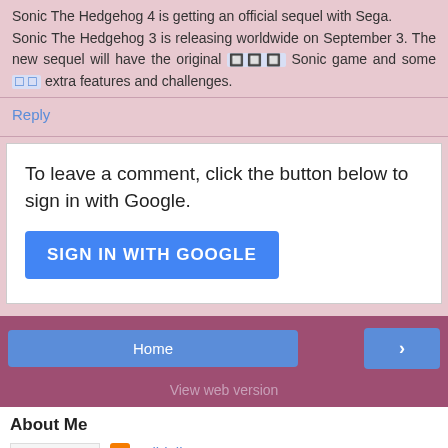Sonic The Hedgehog 4 is getting an official sequel with Sega.
Sonic The Hedgehog 3 is releasing worldwide on September 3. The new sequel will have the original [emoji] Sonic game and some [emoji] extra features and challenges.
Reply
To leave a comment, click the button below to sign in with Google.
SIGN IN WITH GOOGLE
Home
>
View web version
About Me
Indidoll
Hi, I am Indidoll. This blog is for my friends who would